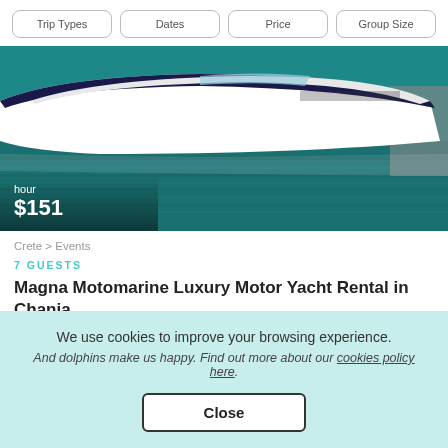Trip Types | Dates | Price | Group Size
[Figure (photo): White luxury motor yacht/speedboat moored in teal/turquoise water, viewed from the side. Price overlay shows 'hour' and '$151'.]
Crete > Events
7 GUESTS
Magna Motomarine Luxury Motor Yacht Rental in Chania
We use cookies to improve your browsing experience.
And dolphins make us happy. Find out more about our cookies policy here.
Close